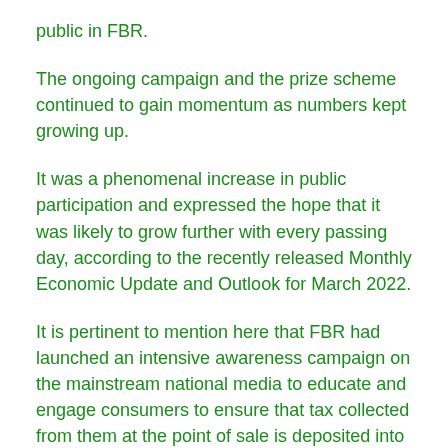public in FBR.
The ongoing campaign and the prize scheme continued to gain momentum as numbers kept growing up.
It was a phenomenal increase in public participation and expressed the hope that it was likely to grow further with every passing day, according to the recently released Monthly Economic Update and Outlook for March 2022.
It is pertinent to mention here that FBR had launched an intensive awareness campaign on the mainstream national media to educate and engage consumers to ensure that tax collected from them at the point of sale is deposited into the state exchequer and not pocketed by the retailers themselves.